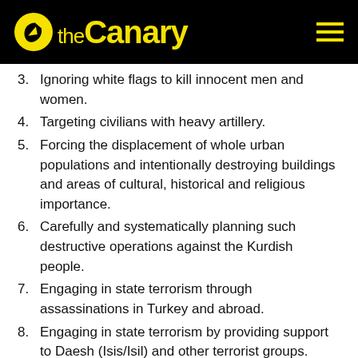The Canary
3. Ignoring white flags to kill innocent men and women.
4. Targeting civilians with heavy artillery.
5. Forcing the displacement of whole urban populations and intentionally destroying buildings and areas of cultural, historical and religious importance.
6. Carefully and systematically planning such destructive operations against the Kurdish people.
7. Engaging in state terrorism through assassinations in Turkey and abroad.
8. Engaging in state terrorism by providing support to Daesh (Isis/Isil) and other terrorist groups.
The court case
The Cardiff arms fair defendants included a member of the Kurdish community in South Wales, a member of Bristol Kurdish Solidarity Network, and a member of Bristol Anarchist